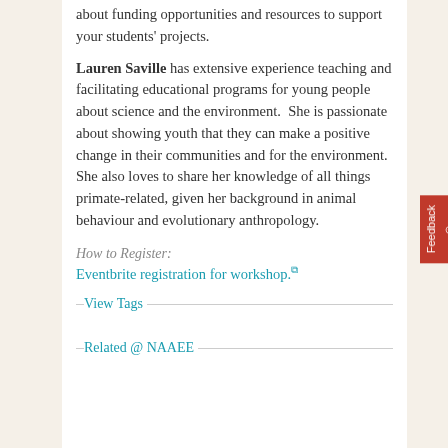about funding opportunities and resources to support your students' projects.
Lauren Saville has extensive experience teaching and facilitating educational programs for young people about science and the environment.  She is passionate about showing youth that they can make a positive change in their communities and for the environment. She also loves to share her knowledge of all things primate-related, given her background in animal behaviour and evolutionary anthropology.
How to Register:
Eventbrite registration for workshop.
View Tags
Related @ NAAEE